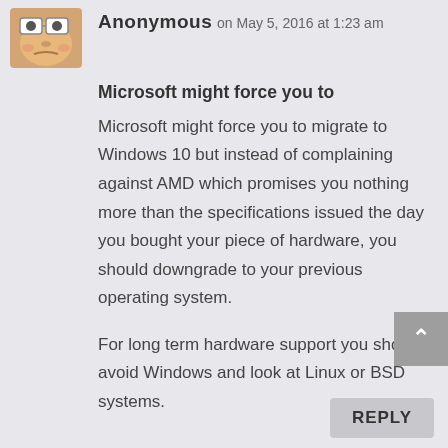Anonymous on May 5, 2016 at 1:23 am
Microsoft might force you to
Microsoft might force you to migrate to Windows 10 but instead of complaining against AMD which promises you nothing more than the specifications issued the day you bought your piece of hardware, you should downgrade to your previous operating system.

For long term hardware support you should avoid Windows and look at Linux or BSD systems.